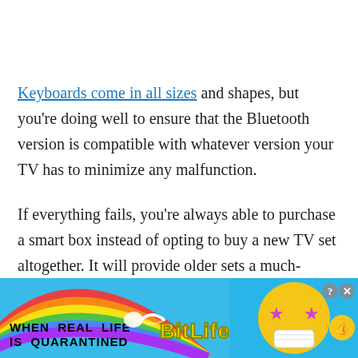Keyboards come in all sizes and shapes, but you're doing well to ensure that the Bluetooth version is compatible with whatever version your TV has to minimize any malfunction.
If everything fails, you're always able to purchase a smart box instead of opting to buy a new TV set altogether. It will provide older sets a much-needed upgrade on technology and allow you the chance to
[Figure (other): BitLife advertisement banner with rainbow background, sperm emoji graphic, BitLife logo in yellow, star-eyes emoji, mask emoji, and thumbs-up emoji. Text reads: WHEN REAL LIFE IS QUARANTINED]